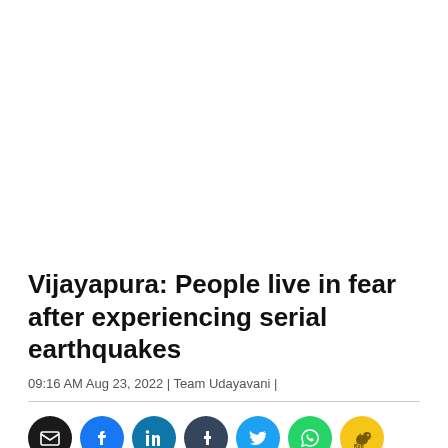Vijayapura: People live in fear after experiencing serial earthquakes
09:16 AM Aug 23, 2022 | Team Udayavani |
[Figure (infographic): Social sharing buttons row: Email (black), Facebook (blue), LinkedIn (teal-blue), Tumblr (dark blue-grey), Twitter (light blue), WhatsApp (green), Koo (yellow with bird icon)]